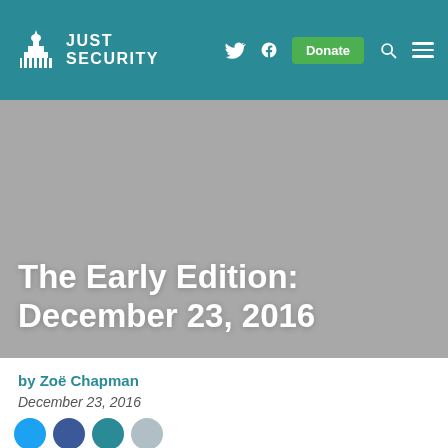Just Security — Navigation header with logo, Twitter, Facebook, Donate, Search, Menu
[Figure (photo): Gray hero image background with article title overlaid at the bottom: The Early Edition: December 23, 2016]
The Early Edition: December 23, 2016
by Zoë Chapman
December 23, 2016